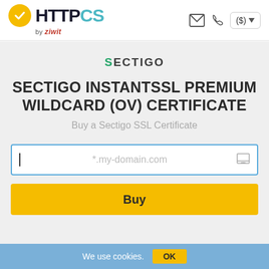[Figure (logo): HTTPCS by ziwit logo with yellow checkmark circle and teal CS letters]
[Figure (logo): Navigation icons: envelope, phone, currency selector showing ($) with dropdown arrow]
[Figure (logo): SECTIGO logo with green S and dark gray ECTIGO text]
SECTIGO INSTANTSSL PREMIUM WILDCARD (OV) CERTIFICATE
Buy a Sectigo SSL Certificate
*.my-domain.com
Buy
We use cookies.
OK